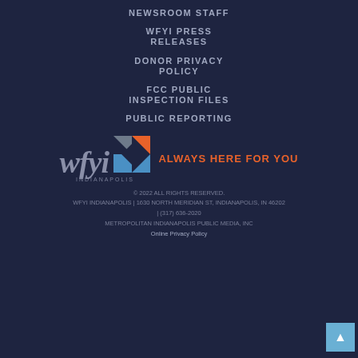NEWSROOM STAFF
WFYI PRESS RELEASES
DONOR PRIVACY POLICY
FCC PUBLIC INSPECTION FILES
PUBLIC REPORTING
[Figure (logo): WFYI Indianapolis logo with colorful diamond/kite graphic and tagline 'ALWAYS HERE FOR YOU' in orange]
© 2022 ALL RIGHTS RESERVED.
WFYI INDIANAPOLIS | 1630 NORTH MERIDIAN ST, INDIANAPOLIS, IN 46202
| (317) 636-2020
METROPOLITAN INDIANAPOLIS PUBLIC MEDIA, INC
Online Privacy Policy